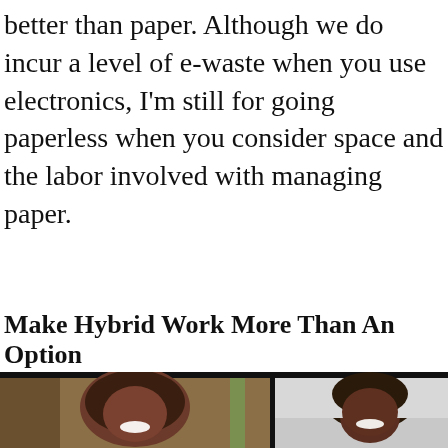better than paper. Although we do incur a level of e-waste when you use electronics, I'm still for going paperless when you consider space and the labor involved with managing paper.
Make Hybrid Work More Than An Option
[Figure (screenshot): Video call screenshot showing two people: left side shows a woman with long locs sitting in front of a bookshelf background; right side shows another woman with curly hair in a lighter room.]